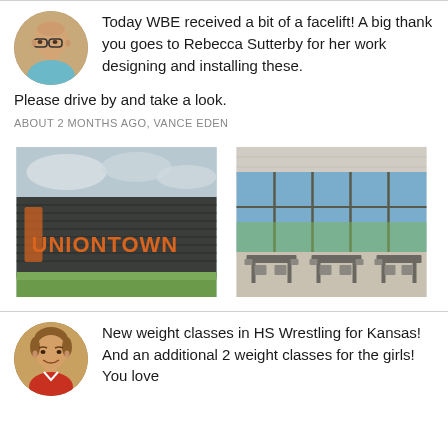Today WBE received a bit of a facelift! A big thank you goes to Rebecca Sutterby for her work designing and installing these. Please drive by and take a look.
ABOUT 2 MONTHS AGO, VANCE EDEN
[Figure (photo): Photo of a school building exterior with orange UNIONTOWN mural lettering on dark metal siding, with green grass in front]
[Figure (photo): Photo of a cafeteria interior with tables and chairs next to large windows overlooking green fields]
New weight classes in HS Wrestling for Kansas! And an additional 2 weight classes for the girls! You love